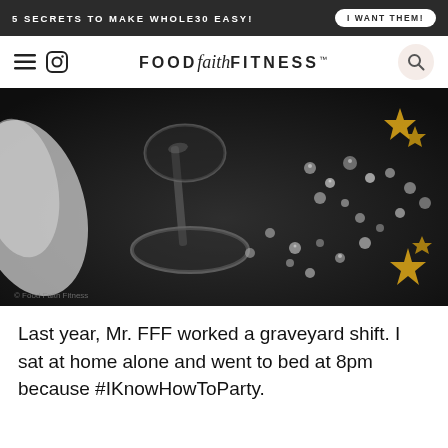5 SECRETS TO MAKE WHOLE30 EASY! | I WANT THEM!
FOOD faith FITNESS™
[Figure (photo): Dark moody photo of a champagne glass base lying on its side on a black surface, with scattered crystal beads and gold star confetti decorations]
Last year, Mr. FFF worked a graveyard shift. I sat at home alone and went to bed at 8pm because #IKnowHowToParty.